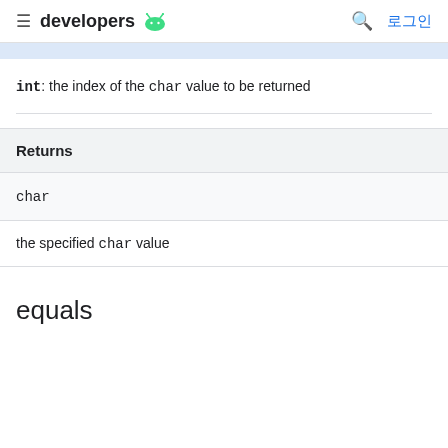developers [android logo] 로그인
int: the index of the char value to be returned
| Returns |
| --- |
| char |
the specified char value
equals